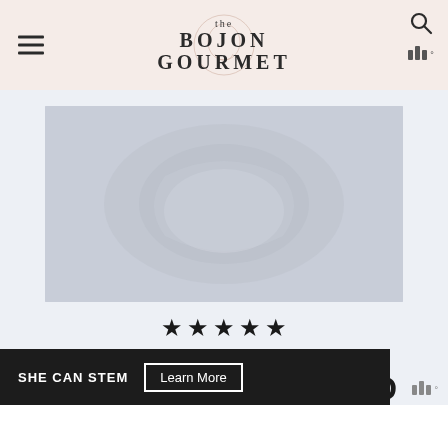the BOJON GOURMET
[Figure (photo): Food photograph of herbed kale salad in a bowl, light blue-gray background]
5 from 1 vote
HERBED KALE SALAD
SHE CAN STEM  Learn More